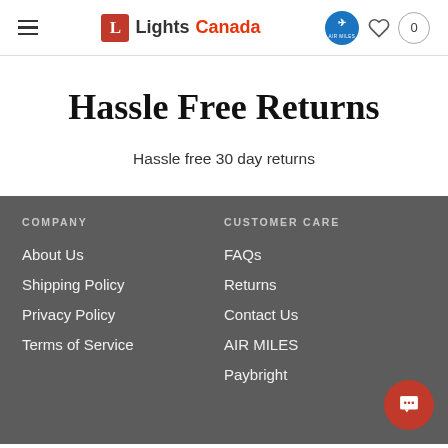Lights Canada — navigation header with hamburger menu, logo, Air Miles badge, heart icon, cart (0)
Hassle Free Returns
Hassle free 30 day returns
COMPANY
About Us
Shipping Policy
Privacy Policy
Terms of Service
CUSTOMER CARE
FAQs
Returns
Contact Us
AIR MILES
Paybright